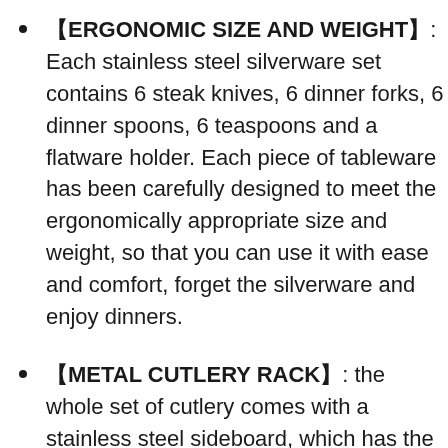【ERGONOMIC SIZE AND WEIGHT】: Each stainless steel silverware set contains 6 steak knives, 6 dinner forks, 6 dinner spoons, 6 teaspoons and a flatware holder. Each piece of tableware has been carefully designed to meet the ergonomically appropriate size and weight, so that you can use it with ease and comfort, forget the silverware and enjoy dinners.
【METAL CUTLERY RACK】: the whole set of cutlery comes with a stainless steel sideboard, which has the function of storing and properly sorting the cutlery, breaking the disordered drawer, and providing good protection for your cutlery. Beautiful and gorgeous appearance, let you put it in